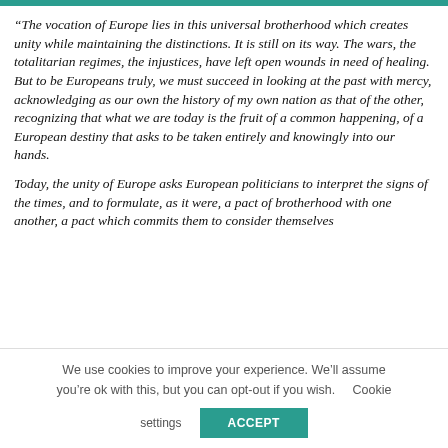“The vocation of Europe lies in this universal brotherhood which creates unity while maintaining the distinctions. It is still on its way. The wars, the totalitarian regimes, the injustices, have left open wounds in need of healing. But to be Europeans truly, we must succeed in looking at the past with mercy, acknowledging as our own the history of my own nation as that of the other, recognizing that what we are today is the fruit of a common happening, of a European destiny that asks to be taken entirely and knowingly into our hands.
Today, the unity of Europe asks European politicians to interpret the signs of the times, and to formulate, as it were, a pact of brotherhood with one another, a pact which commits them to consider themselves
We use cookies to improve your experience. We’ll assume you’re ok with this, but you can opt-out if you wish. Cookie settings  ACCEPT